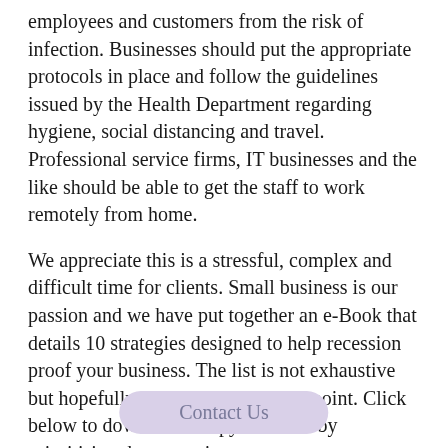employees and customers from the risk of infection. Businesses should put the appropriate protocols in place and follow the guidelines issued by the Health Department regarding hygiene, social distancing and travel. Professional service firms, IT businesses and the like should be able to get the staff to work remotely from home.
We appreciate this is a stressful, complex and difficult time for clients. Small business is our passion and we have put together an e-Book that details 10 strategies designed to help recession proof your business. The list is not exhaustive but hopefully it serves as a starting point. Click below to download a copy and start by prioritising the strategies.
Please contact us if you need any help with
[Figure (other): A rounded rectangular button with light purple/lavender background containing the text 'Contact Us']